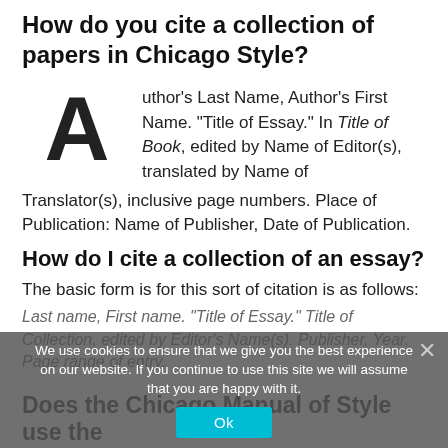How do you cite a collection of papers in Chicago Style?
Author's Last Name, Author's First Name. “Title of Essay.” In Title of Book, edited by Name of Editor(s), translated by Name of Translator(s), inclusive page numbers. Place of Publication: Name of Publisher, Date of Publication.
How do I cite a collection of an essay?
The basic form is for this sort of citation is as follows:
Last name, First name. “Title of Essay.” Title of Collection, edited by Editor’s Name(s). Publisher, Year. Page range of entry.
We use cookies to ensure that we give you the best experience on our website. If you continue to use this site we will assume that you are happy with it.
Does the Chicago Manual of Style use the